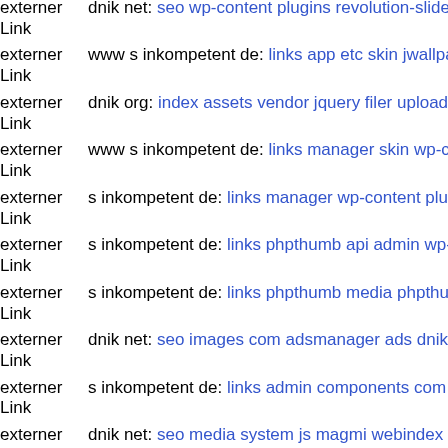externer Link   dnik net: seo wp-content plugins revolution-slider temp upo...
externer Link   www s inkompetent de: links app etc skin jwallpapers files...
externer Link   dnik org: index assets vendor jquery filer uploads download...
externer Link   www s inkompetent de: links manager skin wp-content ther...
externer Link   s inkompetent de: links manager wp-content plugins revolu...
externer Link   s inkompetent de: links phpthumb api admin wp-content pl...
externer Link   s inkompetent de: links phpthumb media phpthumb pagat p...
externer Link   dnik net: seo images com adsmanager ads dnik net
externer Link   s inkompetent de: links admin components com media com...
externer Link   dnik net: seo media system js magmi webindex php
externer Link   www s inkompetent de: links app etc skin jwallpapers files...
externer Link   s inkompetent de: links wp-content themes simplepress tim...